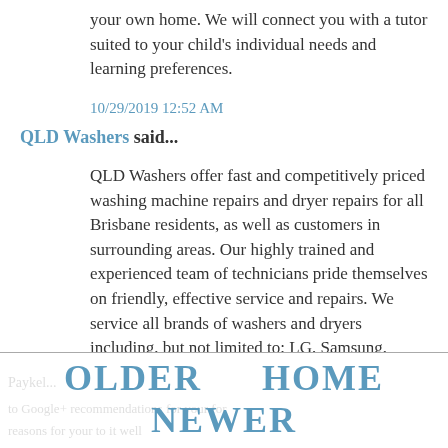your own home. We will connect you with a tutor suited to your child's individual needs and learning preferences.
10/29/2019 12:52 AM
QLD Washers said...
QLD Washers offer fast and competitively priced washing machine repairs and dryer repairs for all Brisbane residents, as well as customers in surrounding areas. Our highly trained and experienced team of technicians pride themselves on friendly, effective service and repairs. We service all brands of washers and dryers including, but not limited to; LG, Samsung, Bosch and Ficher &
OLDER   HOME
NEWER